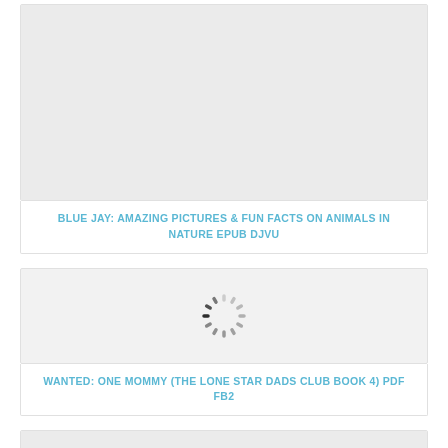[Figure (other): Light gray placeholder image area for book cover]
BLUE JAY: AMAZING PICTURES & FUN FACTS ON ANIMALS IN NATURE EPUB DJVU
[Figure (other): Loading spinner icon (circular dashed ring with dark segment)]
WANTED: ONE MOMMY (THE LONE STAR DADS CLUB BOOK 4) PDF FB2
[Figure (other): Light gray placeholder image area for book cover]